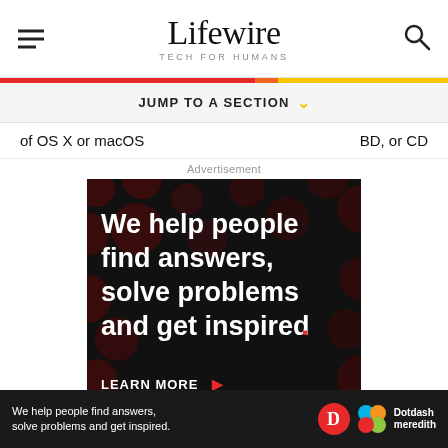Lifewire TECH FOR HUMANS
JUMP TO A SECTION
of OS X or macOS    BD, or CD
Advertisement
[Figure (illustration): Dotdash Meredith advertisement banner on black background with dark red polka-dot pattern. White bold text reads: We help people find answers, solve problems and get inspired. Red period at end. LEARN MORE text with red arrow. Dotdash and Meredith logos at bottom right.]
We help people find answers, solve problems and get inspired.